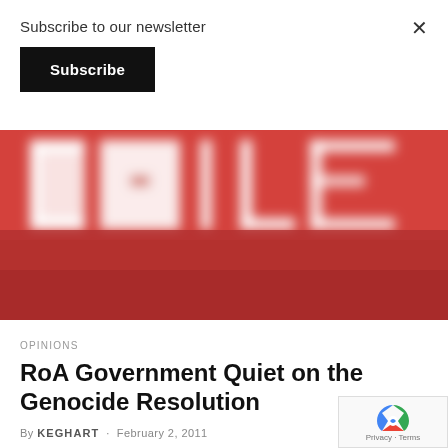Subscribe to our newsletter
Subscribe
[Figure (photo): Blurred image showing large text letters 'AILE' or similar on a red and white background, heavily blurred/defocused]
OPINIONS
RoA Government Quiet on the Genocide Resolution
By KEGHART · February 2, 2011